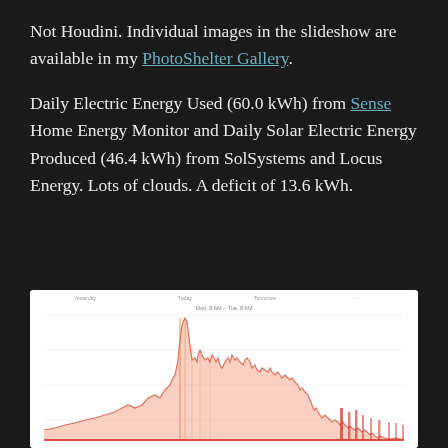Not Houdini. Individual images in the slideshow are available in my PhotoShelter Gallery.
Daily Electric Energy Used (60.0 kWh) from Sense Home Energy Monitor and Daily Solar Electric Energy Produced (46.4 kWh) from SolSystems and Locus Energy. Lots of clouds. A deficit of 13.6 kWh.
[Figure (continuous-plot): Area chart showing energy usage over time with orange/red colored area chart. Shows peaks and valleys of solar/electric energy throughout the day. White background with light grid lines and time axis labels at top.]